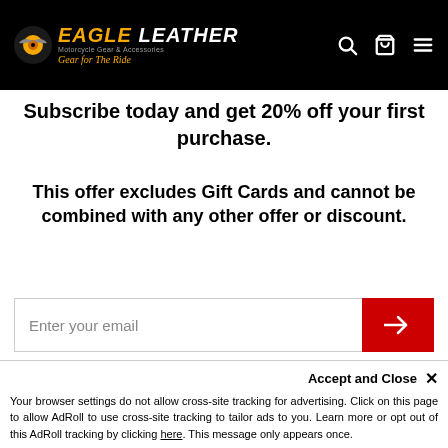Eagle Leather – Motorcycle Gear & Accessories – Gear for The Ride
Subscribe today and get 20% off your first purchase.
This offer excludes Gift Cards and cannot be combined with any other offer or discount.
Enter your email
[Figure (screenshot): Men's Motorcycle Gear navigation item with arrow]
[Figure (screenshot): Women's navigation item with arrow (partially visible)]
Accept and Close ✕
Your browser settings do not allow cross-site tracking for advertising. Click on this page to allow AdRoll to use cross-site tracking to tailor ads to you. Learn more or opt out of this AdRoll tracking by clicking here. This message only appears once.